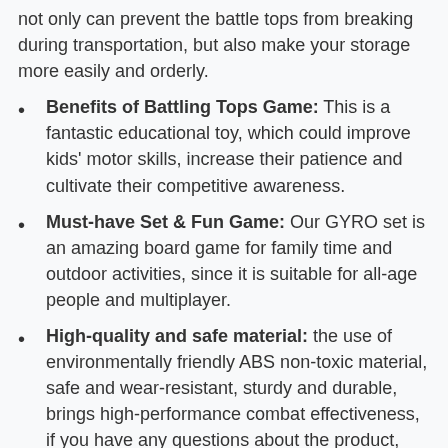not only can prevent the battle tops from breaking during transportation, but also make your storage more easily and orderly.
Benefits of Battling Tops Game: This is a fantastic educational toy, which could improve kids' motor skills, increase their patience and cultivate their competitive awareness.
Must-have Set & Fun Game: Our GYRO set is an amazing board game for family time and outdoor activities, since it is suitable for all-age people and multiplayer.
High-quality and safe material: the use of environmentally friendly ABS non-toxic material, safe and wear-resistant, sturdy and durable, brings high-performance combat effectiveness, if you have any questions about the product, please contact us,we will reply you within 12 hours!.